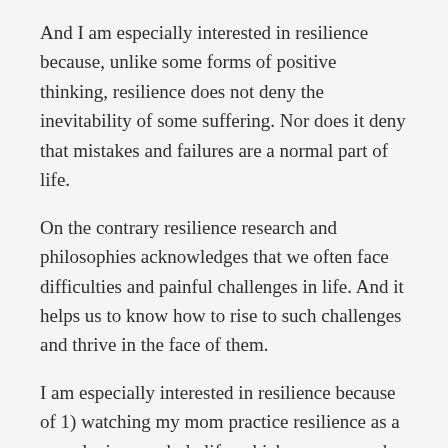And I am especially interested in resilience because, unlike some forms of positive thinking, resilience does not deny the inevitability of some suffering. Nor does it deny that mistakes and failures are a normal part of life.
On the contrary resilience research and philosophies acknowledges that we often face difficulties and painful challenges in life. And it helps us to know how to rise to such challenges and thrive in the face of them.
I am especially interested in resilience because of 1) watching my mom practice resilience as a paraplegic my whole life, which you can read about here:
About My Mom: Paraplegia, Swimming, and Resilience